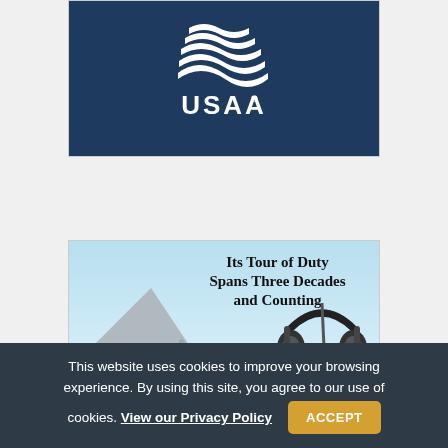[Figure (logo): USAA logo on dark navy blue background — white eagle/wing mark above white USAA text with registered trademark symbol]
[Figure (illustration): Advertisement for military aviation headset Model H10-76. Light blue sky background. Left: USAF aircraft tail fin in gray. Center-right: military aviation headset hanging. Title text: 'Its Tour of Duty Spans Three Decades and Counting'. Bottom label: 'Model H10-76']
This website uses cookies to improve your browsing experience. By using this site, you agree to our use of cookies. View our Privacy Policy
ACCEPT